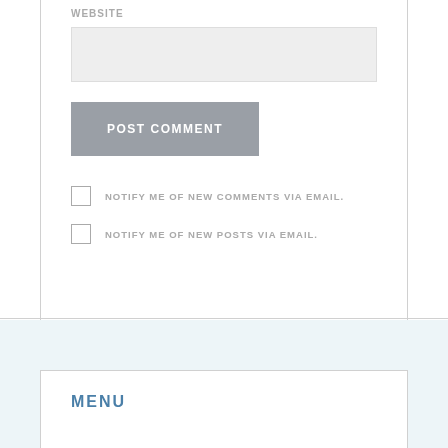WEBSITE
[Figure (screenshot): Empty text input field for website URL, light gray background]
POST COMMENT
NOTIFY ME OF NEW COMMENTS VIA EMAIL.
NOTIFY ME OF NEW POSTS VIA EMAIL.
MENU